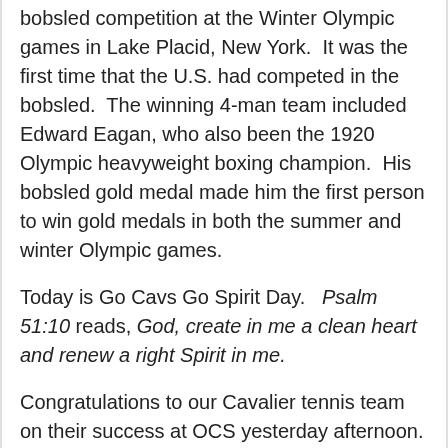bobsled competition at the Winter Olympic games in Lake Placid, New York.  It was the first time that the U.S. had competed in the bobsled.  The winning 4-man team included Edward Eagan, who also been the 1920 Olympic heavyweight boxing champion.  His bobsled gold medal made him the first person to win gold medals in both the summer and winter Olympic games.
Today is Go Cavs Go Spirit Day.   Psalm 51:10 reads, God, create in me a clean heart and renew a right Spirit in me.
Congratulations to our Cavalier tennis team on their success at OCS yesterday afternoon.
Congratulations to our middle school